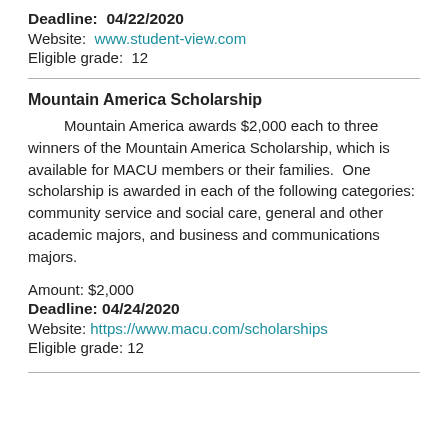Deadline:  04/22/2020
Website:  www.student-view.com
Eligible grade:  12
Mountain America Scholarship
Mountain America awards $2,000 each to three winners of the Mountain America Scholarship, which is available for MACU members or their families.  One scholarship is awarded in each of the following categories:  community service and social care, general and other academic majors, and business and communications majors.
Amount: $2,000
Deadline: 04/24/2020
Website: https://www.macu.com/scholarships
Eligible grade: 12